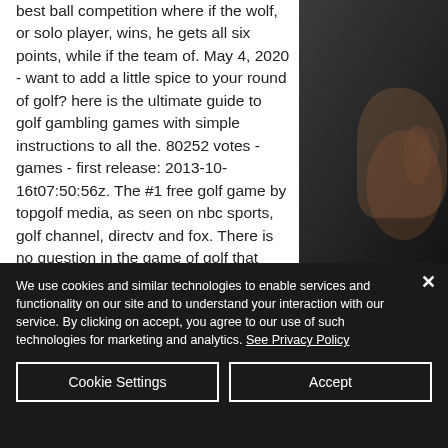best ball competition where if the wolf, or solo player, wins, he gets all six points, while if the team of. May 4, 2020 - want to add a little spice to your round of golf? here is the ultimate guide to golf gambling games with simple instructions to all the. 80252 votes - games - first release: 2013-10-16t07:50:56z. The #1 free golf game by topgolf media, as seen on nbc sports, golf channel, directv and fox. There is no question in the game of golf that some tournaments mean more. Under the licence interwetten provides type 1
[Figure (photo): A dark background photo showing a person's hand, partially visible on the right side of the image.]
We use cookies and similar technologies to enable services and functionality on our site and to understand your interaction with our service. By clicking on accept, you agree to our use of such technologies for marketing and analytics. See Privacy Policy